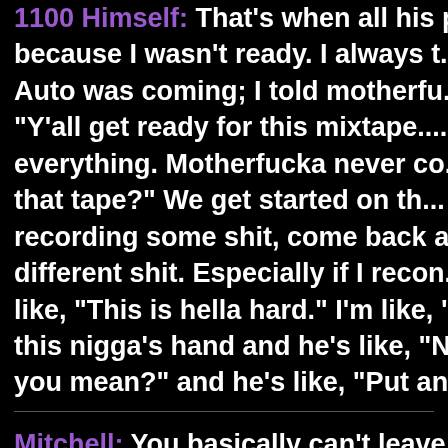1100 Himself: That's when all his p... because I wasn't ready. I always t... Auto was coming; I told motherfu... "Y'all get ready for this mixtape.... everything. Motherfucka never co... that tape?" We get started on th... recording some shit, come back a... different shit. Especially if I recon... like, "This is hella hard." I'm like, "... this nigga's hand and he's like, "N... you mean?" and he's like, "Put an...
Mitchell: You basically can't leave...
1100 Himself: He'll be like, "I got a... day and he starts playing "The Pa... hear it." He'll be like, "Just listen.... this nigga leaves first for two or...